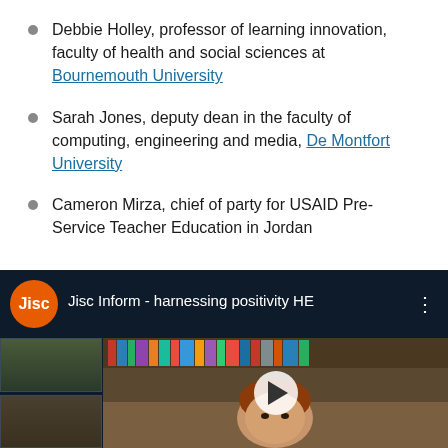Debbie Holley, professor of learning innovation, faculty of health and social sciences at Bournemouth University
Sarah Jones, deputy dean in the faculty of computing, engineering and media, De Montfort University
Cameron Mirza, chief of party for USAID Pre-Service Teacher Education in Jordan
[Figure (screenshot): Video player screenshot showing a Jisc Inform webinar titled 'Jisc Inform - harnessing positivity HE' with a Jisc orange logo circle, a woman with red hair in front of bookshelves, and two small participant thumbnails on the left side. A play button is visible in the center.]